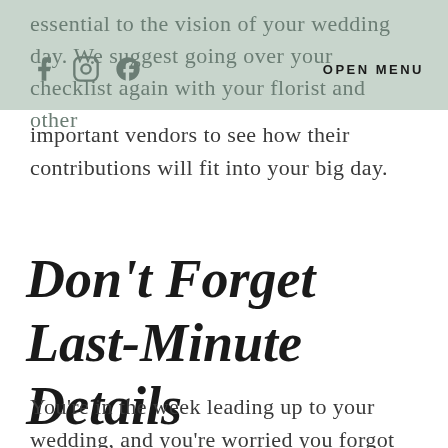essential to the vision of your wedding day. We suggest going over your checklist again with your florist and other
important vendors to see how their contributions will fit into your big day.
Don't Forget Last-Minute Details
You're in the week leading up to your wedding, and you're worried you forgot